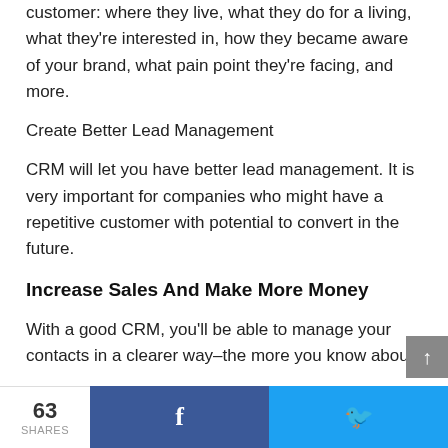customer: where they live, what they do for a living, what they're interested in, how they became aware of your brand, what pain point they're facing, and more.
Create Better Lead Management
CRM will let you have better lead management. It is very important for companies who might have a repetitive customer with potential to convert in the future.
Increase Sales And Make More Money
With a good CRM, you'll be able to manage your contacts in a clearer way–the more you know about
63 SHARES  f  🐦